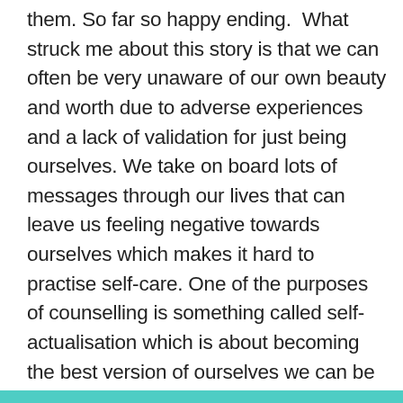them. So far so happy ending. What struck me about this story is that we can often be very unaware of our own beauty and worth due to adverse experiences and a lack of validation for just being ourselves. We take on board lots of messages through our lives that can leave us feeling negative towards ourselves which makes it hard to practise self-care. One of the purposes of counselling is something called self-actualisation which is about becoming the best version of ourselves we can be and having the freedom to be authentic and congruent – happy with who we are and open and honest with others about that. Having counselling can be very liberating and lead to a better quality of life and increased health and self-esteem which is a very valuable thing to have.